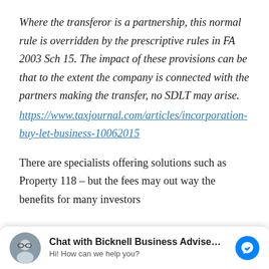Where the transferor is a partnership, this normal rule is overridden by the prescriptive rules in FA 2003 Sch 15. The impact of these provisions can be that to the extent the company is connected with the partners making the transfer, no SDLT may arise.
https://www.taxjournal.com/articles/incorporation-buy-let-business-10062015
There are specialists offering solutions such as Property 118 – but the fees may out way the benefits for many investors